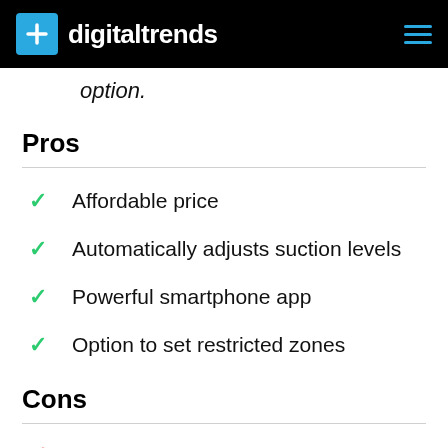digitaltrends
option.
Pros
Affordable price
Automatically adjusts suction levels
Powerful smartphone app
Option to set restricted zones
Cons
Expensive to replace parts